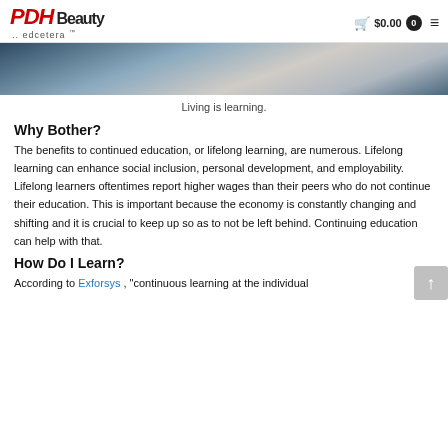PDH Beauty .. edcetera .. $0.00 0
[Figure (photo): Partial view of a person in white clothing against a blue-gray background, cropped to show torso area only.]
Living is learning.
Why Bother?
The benefits to continued education, or lifelong learning, are numerous. Lifelong learning can enhance social inclusion, personal development, and employability. Lifelong learners oftentimes report higher wages than their peers who do not continue their education. This is important because the economy is constantly changing and shifting and it is crucial to keep up so as to not be left behind. Continuing education can help with that.
How Do I Learn?
According to Exforsys , "continuous learning at the individual